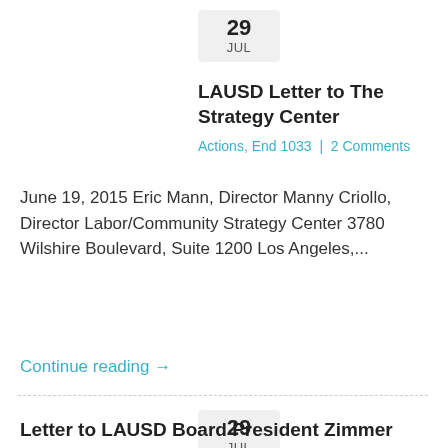[Figure (other): Date box showing 29 JUL]
LAUSD Letter to The Strategy Center
Actions, End 1033 | 2 Comments
June 19, 2015 Eric Mann, Director Manny Criollo, Director Labor/Community Strategy Center 3780 Wilshire Boulevard, Suite 1200 Los Angeles,...
Continue reading →
[Figure (other): Date box showing 29 JUL]
Letter to LAUSD Board President Zimmer